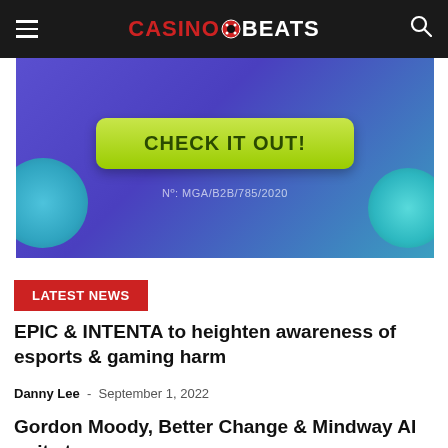CASINOBEATS
[Figure (illustration): Advertisement banner with purple/blue gradient background, a yellow-green 'CHECK IT OUT!' button, decorative teal crystal/gem shapes on the sides, and license text 'Nº: MGA/B2B/785/2020' at the bottom.]
LATEST NEWS
EPIC & INTENTA to heighten awareness of esports & gaming harm
Danny Lee  -  September 1, 2022
Gordon Moody, Better Change & Mindway AI unite to